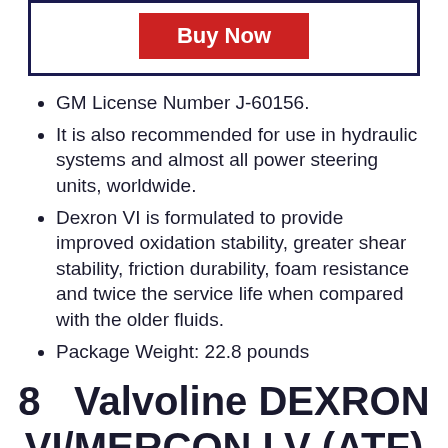[Figure (other): Buy Now button inside a dark navy border box]
GM License Number J-60156.
It is also recommended for use in hydraulic systems and almost all power steering units, worldwide.
Dexron VI is formulated to provide improved oxidation stability, greater shear stability, friction durability, foam resistance and twice the service life when compared with the older fluids.
Package Weight: 22.8 pounds
8   Valvoline DEXRON VI/MERCON LV (ATF) Full